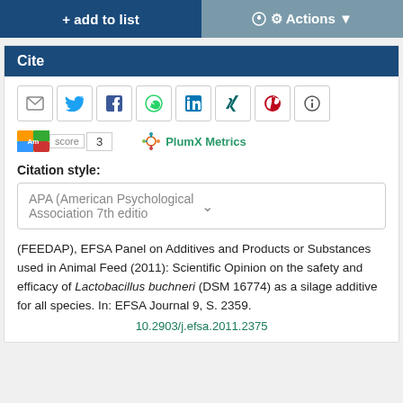+ add to list
Actions ▼
Cite
[Figure (infographic): Social sharing icon buttons: email, Twitter, Facebook, WhatsApp, LinkedIn, Xing, Pinterest, info]
Altmetric score: 3 | PlumX Metrics
Citation style:
APA (American Psychological Association 7th editio
(FEEDAP), EFSA Panel on Additives and Products or Substances used in Animal Feed (2011): Scientific Opinion on the safety and efficacy of Lactobacillus buchneri (DSM 16774) as a silage additive for all species. In: EFSA Journal 9, S. 2359.
10.2903/j.efsa.2011.2375